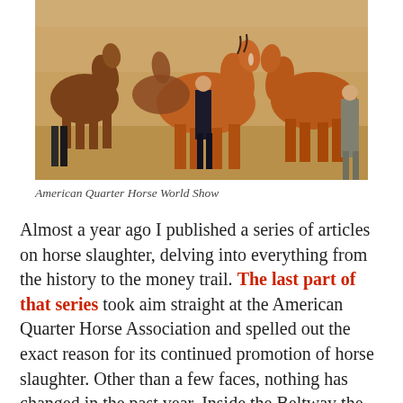[Figure (photo): People handling chestnut horses at the American Quarter Horse World Show, sandy arena floor, several horses and handlers visible.]
American Quarter Horse World Show
Almost a year ago I published a series of articles on horse slaughter, delving into everything from the history to the money trail. The last part of that series took aim straight at the American Quarter Horse Association and spelled out the exact reason for its continued promotion of horse slaughter. Other than a few faces, nothing has changed in the past year. Inside the Beltway the lobbyist continue their rounds, visiting